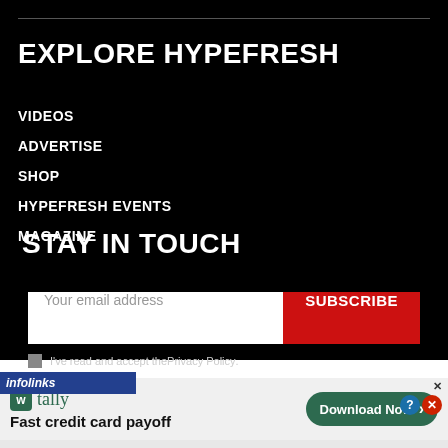EXPLORE HYPEFRESH
VIDEOS
ADVERTISE
SHOP
HYPEFRESH EVENTS
MAGAZINE
STAY IN TOUCH
Your email address  SUBSCRIBE
I've read and accept the Privacy Policy.
[Figure (screenshot): Advertisement banner for Tally app showing 'Fast credit card payoff' with a green 'Download Now' button]